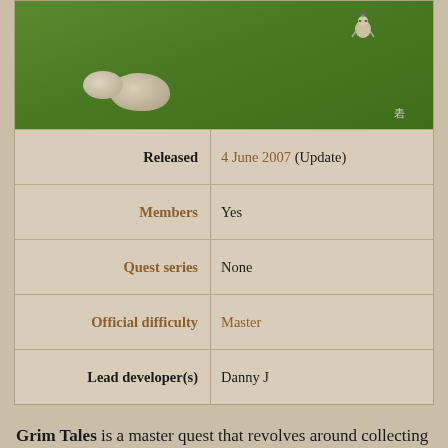[Figure (screenshot): Top-down view of a green grassy area in a video game (RuneScape), showing white rock-like objects on green terrain with a small character figure in the upper right area.]
| Label | Value |
| --- | --- |
| Released | 4 June 2007 (Update) |
| Members | Yes |
| Quest series | None |
| Official difficulty | Master |
| Lead developer(s) | Danny J |
Grim Tales is a master quest that revolves around collecting a couple of rare items for Sylas, a peculiar collector. It contains many references to various real-life fairy tales.
Details